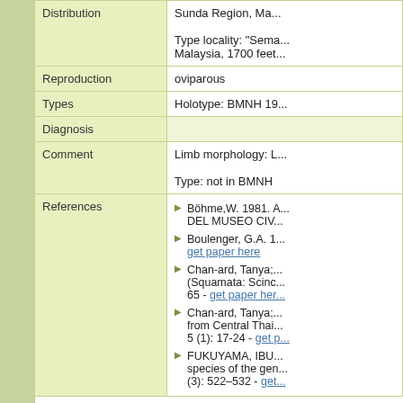| Field | Value |
| --- | --- |
| Distribution | Sunda Region, Ma...
Type locality: "Sema... Malaysia, 1700 feet... |
| Reproduction | oviparous |
| Types | Holotype: BMNH 19... |
| Diagnosis |  |
| Comment | Limb morphology: L...
Type: not in BMNH |
| References | Böhme,W. 1981. A... DEL MUSEO CIV...
Boulenger, G.A. 1... get paper here
Chan-ard, Tanya; ... (Squamata: Scinc... 65 - get paper her...
Chan-ard, Tanya; ... from Central Thai... 5 (1): 17-24 - get p...
FUKUYAMA, IBU... species of the gen... (3): 522–532 - get... |